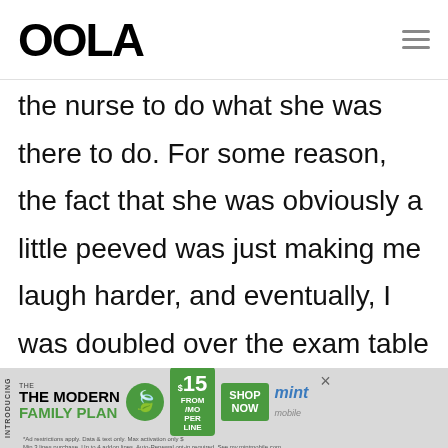OOLA
the nurse to do what she was there to do. For some reason, the fact that she was obviously a little peeved was just making me laugh harder, and eventually, I was doubled over the exam table holding my one free hand over my mouth to stem my amusement at my faux pas, with my
[Figure (infographic): Advertisement banner: INTRODUCING THE MODERN FAMILY PLAN from $15/MO PER LINE SHOP NOW mint mobile]